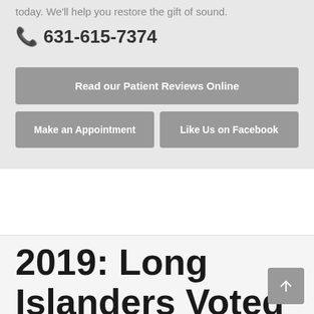today. We'll help you restore the gift of sound.
📞 631-615-7374
Read our Patient Reviews Online
Make an Appointment
Like Us on Facebook
2019: Long Islanders Voted SightMD Best